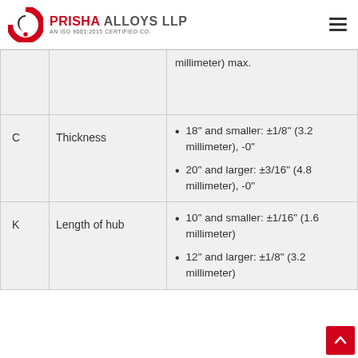PRISHA ALLOYS LLP — AN ISO 9001:2015 CERTIFIED CO.
|  | Dimension | Tolerance |
| --- | --- | --- |
|  |  | millimeter) max. |
| C | Thickness | 18" and smaller: ±1/8" (3.2 millimeter), -0"
20" and larger: ±3/16" (4.8 millimeter), -0" |
| K | Length of hub | 10" and smaller: ±1/16" (1.6 millimeter)
12" and larger: ±1/8" (3.2 millimeter) |